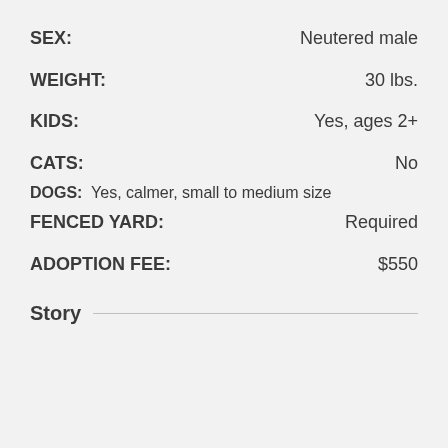SEX: Neutered male
WEIGHT: 30 lbs.
KIDS: Yes, ages 2+
CATS: No
DOGS: Yes, calmer, small to medium size
FENCED YARD: Required
ADOPTION FEE: $550
Story